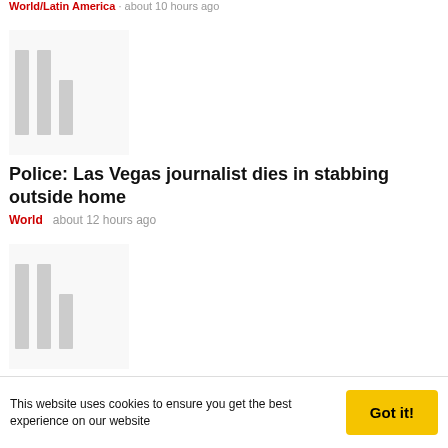World/Latin America · about 10 hours ago
[Figure (photo): Blurred/loading image placeholder with vertical gray bars for article about Las Vegas journalist stabbing]
Police: Las Vegas journalist dies in stabbing outside home
World   about 12 hours ago
[Figure (photo): Blurred/loading image placeholder with vertical gray bars for article about Memphis police kidnapping]
Memphis police: Man charged with kidnapping missing jogger
World   about 15 hours ago
[Figure (photo): Partial blurred/loading image placeholder at bottom of page]
This website uses cookies to ensure you get the best experience on our website